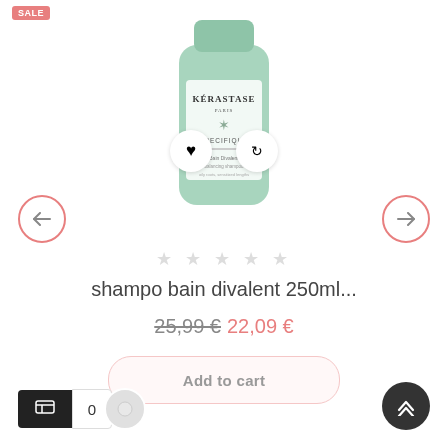[Figure (photo): Kérastase Paris Specifique shampoo bottle in green/mint color, approximately 250ml size]
SALE
shampo bain divalent 250ml...
25,99 € 22,09 €
Add to cart